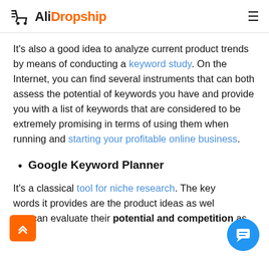AliDropship
It's also a good idea to analyze current product trends by means of conducting a keyword study. On the Internet, you can find several instruments that can both assess the potential of keywords you have and provide you with a list of keywords that are considered to be extremely promising in terms of using them when running and starting your profitable online business.
Google Keyword Planner
It's a classical tool for niche research. The keywords it provides are the product ideas as well as you can evaluate their potential and competition as